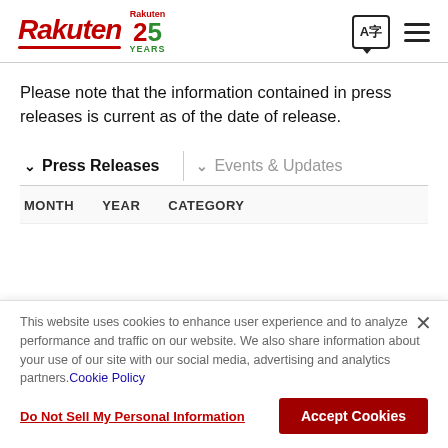Rakuten 25 Years
Please note that the information contained in press releases is current as of the date of release.
Press Releases | Events & Updates
MONTH   YEAR   CATEGORY
This website uses cookies to enhance user experience and to analyze performance and traffic on our website. We also share information about your use of our site with our social media, advertising and analytics partners. Cookie Policy
Do Not Sell My Personal Information
Accept Cookies